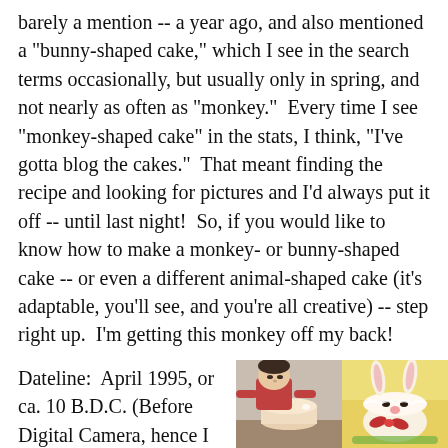barely a mention -- a year ago, and also mentioned a "bunny-shaped cake," which I see in the search terms occasionally, but usually only in spring, and not nearly as often as "monkey."  Every time I see "monkey-shaped cake" in the stats, I think, "I've gotta blog the cakes."  That meant finding the recipe and looking for pictures and I'd always put it off -- until last night!  So, if you would like to know how to make a monkey- or bunny-shaped cake -- or even a different animal-shaped cake (it's adaptable, you'll see, and you're all creative) -- step right up.  I'm getting this monkey off my back!
Dateline:  April 1995, or ca. 10 B.D.C. (Before Digital Camera, hence I found
[Figure (photo): Two-panel photo: left panel shows a child leaning over a cake, right panel shows a bunny-shaped cake decorated with a bow.]